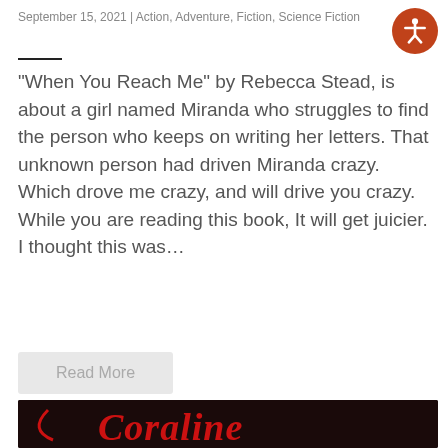September 15, 2021 | Action, Adventure, Fiction, Science Fiction
"When You Reach Me" by Rebecca Stead, is about a girl named Miranda who struggles to find the person who keeps on writing her letters. That unknown person had driven Miranda crazy. Which drove me crazy, and will drive you crazy. While you are reading this book, It will get juicier. I thought this was...
Read More
[Figure (photo): Book cover of Coraline showing red stylized text 'Coraline' on a dark background with a shadowy figure and glowing light.]